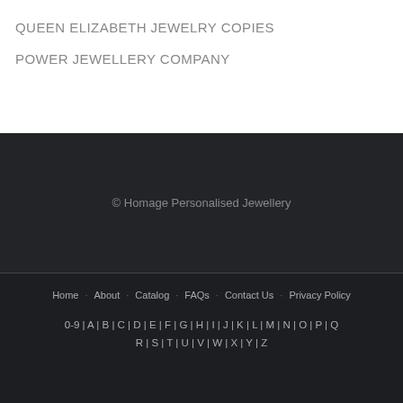QUEEN ELIZABETH JEWELRY COPIES
POWER JEWELLERY COMPANY
© Homage Personalised Jewellery
Home · About · Catalog · FAQs · Contact Us · Privacy Policy
0-9 | A | B | C | D | E | F | G | H | I | J | K | L | M | N | O | P | Q | R | S | T | U | V | W | X | Y | Z